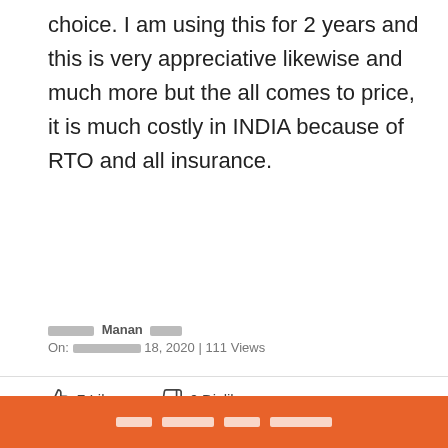choice. I am using this for 2 years and this is very appreciative likewise and much more but the all comes to price, it is much costly in INDIA because of RTO and all insurance.
Manan | On: [date] 18, 2020 | 111 Views
7 Likes  6 Dislikes
[Tamil text section header]
4.2 [Tamil] 39 [Tamil]
[Tamil button text]